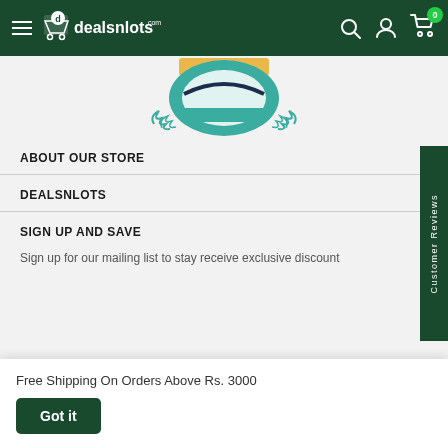dealsnlots.com — navigation bar with hamburger, logo, search, account, and cart icons
[Figure (logo): Partially visible dealsnlots badge/shield emblem with teal ribbon and laurel wreath in teal/gold/navy colors]
ABOUT OUR STORE
DEALSNLOTS
SIGN UP AND SAVE
Sign up for our mailing list to stay receive exclusive discount
Free Shipping On Orders Above Rs. 3000
Got it
[Figure (other): Customer Reviews vertical tab on the right side]